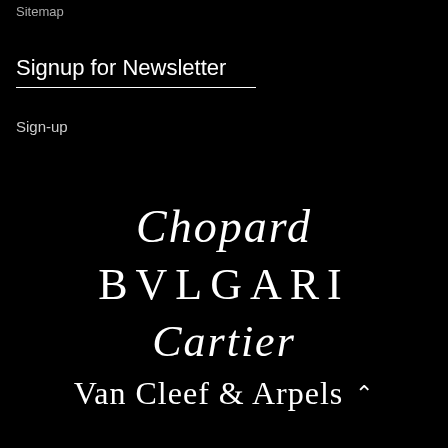Sitemap
Signup for Newsletter
Sign-up
[Figure (logo): Chopard brand logo in cursive/script white font on black background]
[Figure (logo): BVLGARI brand logo in spaced serif white capitals on black background]
[Figure (logo): Cartier brand logo in italic script white font on black background]
[Figure (logo): Van Cleef & Arpels brand logo in serif white font on black background with upward caret symbol]